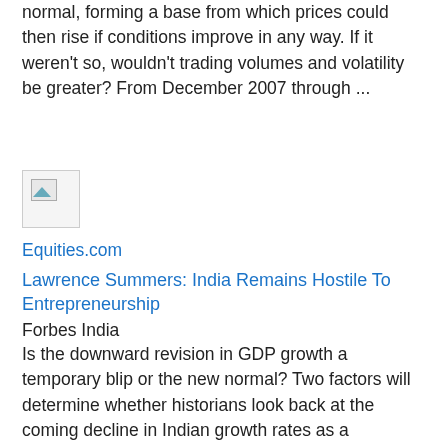normal, forming a base from which prices could then rise if conditions improve in any way. If it weren't so, wouldn't trading volumes and volatility be greater? From December 2007 through ...
[Figure (other): Broken image thumbnail for Equities.com]
Equities.com
Lawrence Summers: India Remains Hostile To Entrepreneurship
Forbes India
Is the downward revision in GDP growth a temporary blip or the new normal? Two factors will determine whether historians look back at the coming decline in Indian growth rates as a downward blip or whether they look at the previous period of 9 percent ...
[Figure (other): Broken image thumbnail for Forbes India]
Forbes India
High Stress May Be The New Normal - News Story - KRDO ...
COLORADO SPRINGS, Colo. -- Experts believe that high